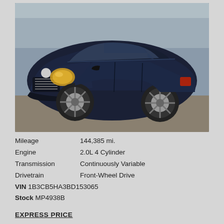[Figure (photo): Dark navy blue Dodge Caliber SUV/hatchback parked in a gravel lot, front three-quarter view, bare trees visible in background]
Mileage	144,385 mi.
Engine	2.0L 4 Cylinder
Transmission	Continuously Variable
Drivetrain	Front-Wheel Drive
VIN 1B3CB5HA3BD153065
Stock MP4938B
EXPRESS PRICE